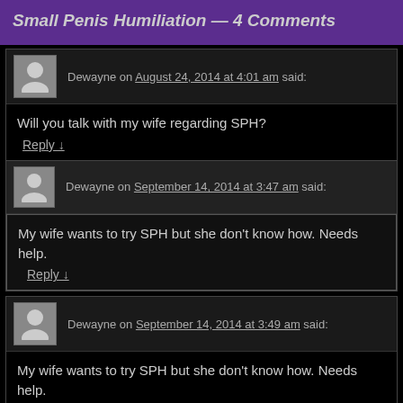Small Penis Humiliation — 4 Comments
Dewayne on August 24, 2014 at 4:01 am said:
Will you talk with my wife regarding SPH?
Reply ↓
Dewayne on September 14, 2014 at 3:47 am said:
My wife wants to try SPH but she don't know how. Needs help.
Reply ↓
Dewayne on September 14, 2014 at 3:49 am said:
My wife wants to try SPH but she don't know how. Needs help.
Will you call my number and ask to speak with my wife?
Reply ↓